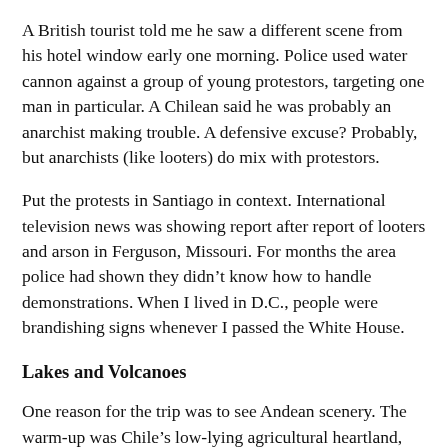A British tourist told me he saw a different scene from his hotel window early one morning. Police used water cannon against a group of young protestors, targeting one man in particular. A Chilean said he was probably an anarchist making trouble. A defensive excuse? Probably, but anarchists (like looters) do mix with protestors.
Put the protests in Santiago in context. International television news was showing report after report of looters and arson in Ferguson, Missouri. For months the area police had shown they didn’t know how to handle demonstrations. When I lived in D.C., people were brandishing signs whenever I passed the White House.
Lakes and Volcanoes
One reason for the trip was to see Andean scenery. The warm-up was Chile’s low-lying agricultural heartland, where grapevines, fruit trees, and corn often line the highway. The first two provide